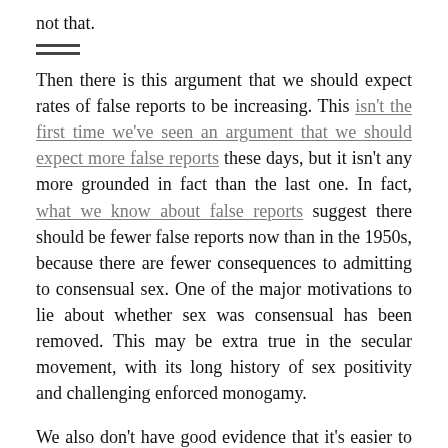not that.
Then there is this argument that we should expect rates of false reports to be increasing. This isn't the first time we've seen an argument that we should expect more false reports these days, but it isn't any more grounded in fact than the last one. In fact, what we know about false reports suggest there should be fewer false reports now than in the 1950s, because there are fewer consequences to admitting to consensual sex. One of the major motivations to lie about whether sex was consensual has been removed. This may be extra true in the secular movement, with its long history of sex positivity and challenging enforced monogamy.
We also don't have good evidence that it's easier to report harassment and assault these days. While it's true that the “ruin” of a woman’s reputation isn’t the kind of disaster it was in the 1950s, we didn't have online harassment